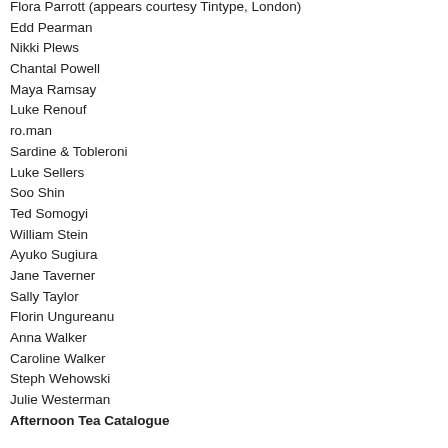Flora Parrott (appears courtesy Tintype, London)
Edd Pearman
Nikki Plews
Chantal Powell
Maya Ramsay
Luke Renouf
ro.man
Sardine & Tobleroni
Luke Sellers
Soo Shin
Ted Somogyi
William Stein
Ayuko Sugiura
Jane Taverner
Sally Taylor
Florin Ungureanu
Anna Walker
Caroline Walker
Steph Wehowski
Julie Westerman
Afternoon Tea Catalogue